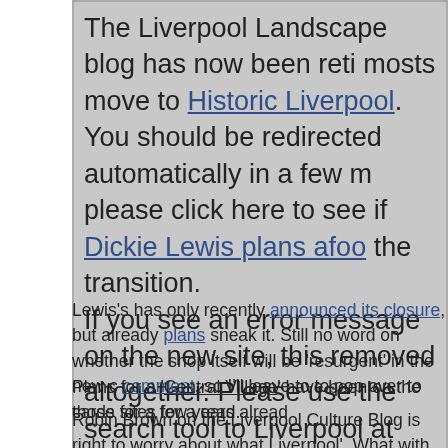The Liverpool Landscape blog has now been reti mosts move to Historic Liverpool. You should be redirected automatically in a few m please click here to see if Dickie Lewis plans afoo the transition. If you see an error message on the new site, this removed altogether. Please use the search tool to Liverpool at your leisure.
Lewis's has only recently announced its closure, but already plans sneak it. Still no word on whether the shop itself will be 'resurgent' in the new c comment, so I'll leave to to pop over to those sites for a read.
Plans for a 'Central Village' have been on the cards for a few years alread
Robin Brown on the Liverpool Culture Blog is right to worry about what Liverpool'. What with Liverpool One and the new developments from Pa Street, Liverpool is at risk from each area pulling customers away the oth it will have to have its own distinctive character.